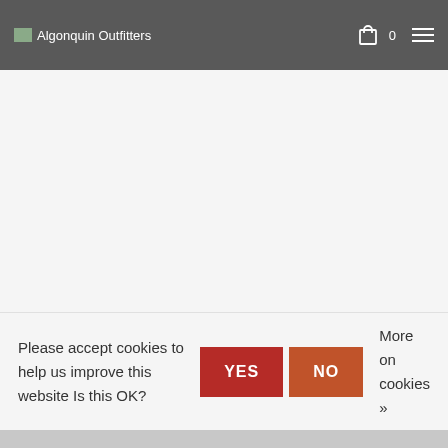Algonquin Outfitters
[Figure (screenshot): White/light gray blank content area below header]
Please accept cookies to help us improve this website Is this OK?
YES
NO
More on cookies »